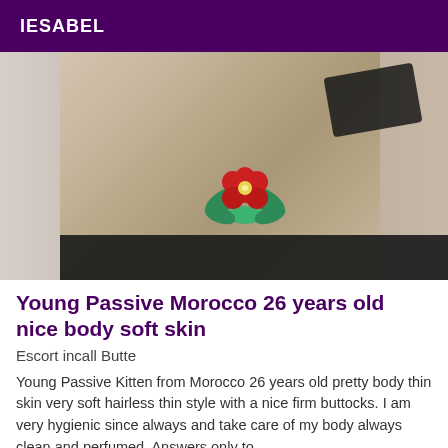IESABEL
[Figure (photo): Photo of a person showing torso area with black lingerie and a floral tattoo/sticker overlay on the hip area]
Young Passive Morocco 26 years old nice body soft skin
Escort incall Butte
Young Passive Kitten from Morocco 26 years old pretty body thin skin very soft hairless thin style with a nice firm buttocks. I am very hygienic since always and take care of my body always clean and perfumed. Answers only to